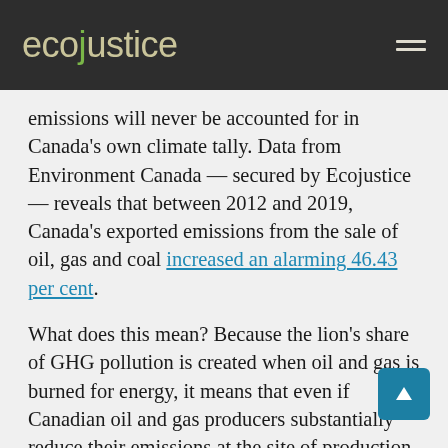ecojustice
emissions will never be accounted for in Canada’s own climate tally. Data from Environment Canada — secured by Ecojustice — reveals that between 2012 and 2019, Canada’s exported emissions from the sale of oil, gas and coal increased an alarming 46.43 per cent.
What does this mean? Because the lion’s share of GHG pollution is created when oil and gas is burned for energy, it means that even if Canadian oil and gas producers substantially reduce their emissions at the site of production, it will only have a minimal impact on actually reducing the total amount of GHG pollution generated from oil